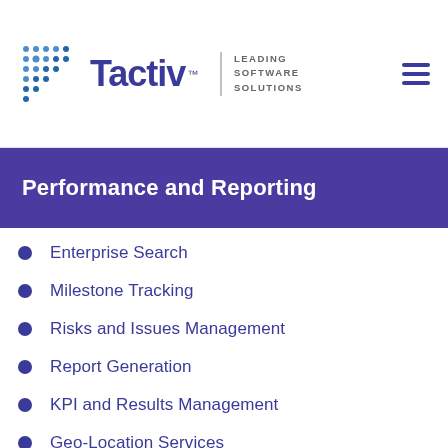Tactiv — Leading Software Solutions
Performance and Reporting
Enterprise Search
Milestone Tracking
Risks and Issues Management
Report Generation
KPI and Results Management
Geo-Location Services